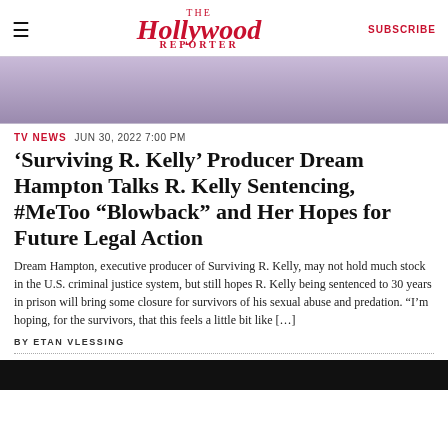The Hollywood Reporter  SUBSCRIBE
[Figure (photo): Partial photo of a person in a dark navy outfit, seated, with purple background visible]
TV NEWS  JUN 30, 2022 7:00 PM
'Surviving R. Kelly' Producer Dream Hampton Talks R. Kelly Sentencing, #MeToo “Blowback” and Her Hopes for Future Legal Action
Dream Hampton, executive producer of Surviving R. Kelly, may not hold much stock in the U.S. criminal justice system, but still hopes R. Kelly being sentenced to 30 years in prison will bring some closure for survivors of his sexual abuse and predation. “I’m hoping, for the survivors, that this feels a little bit like […]
BY ETAN VLESSING
[Figure (photo): Dark image at the bottom of the page, partially visible]